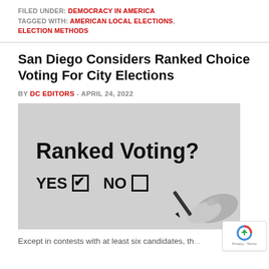FILED UNDER: DEMOCRACY IN AMERICA
TAGGED WITH: AMERICAN LOCAL ELECTIONS, ELECTION METHODS
San Diego Considers Ranked Choice Voting For City Elections
BY DC EDITORS - APRIL 24, 2022
[Figure (photo): Grayscale image showing the text 'Ranked Voting?' in bold with 'YES' checked and 'NO' unchecked boxes, and a hand holding a pen about to mark a box.]
Except in contests with at least six candidates, th...